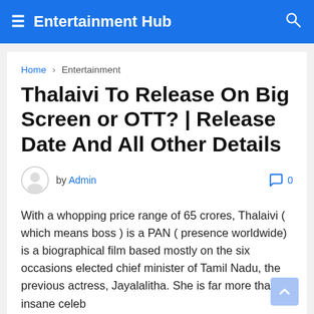Entertainment Hub
Home › Entertainment
Thalaivi To Release On Big Screen or OTT? | Release Date And All Other Details
by Admin  0
With a whopping price range of 65 crores, Thalaivi ( which means boss ) is a PAN ( presence worldwide) is a biographical film based mostly on the six occasions elected chief minister of Tamil Nadu, the previous actress, Jayalalitha. She is far more than an insane celeb